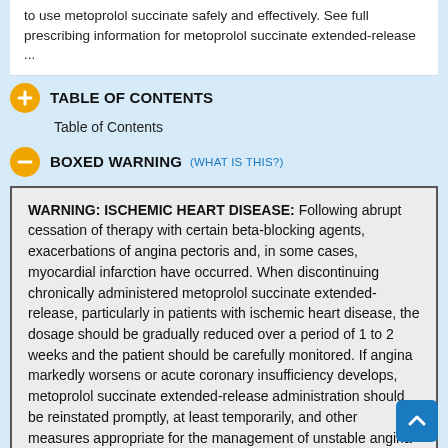to use metoprolol succinate safely and effectively. See full prescribing information for metoprolol succinate extended-release ...
TABLE OF CONTENTS
Table of Contents
BOXED WARNING (WHAT IS THIS?)
WARNING: ISCHEMIC HEART DISEASE: Following abrupt cessation of therapy with certain beta-blocking agents, exacerbations of angina pectoris and, in some cases, myocardial infarction have occurred. When discontinuing chronically administered metoprolol succinate extended-release, particularly in patients with ischemic heart disease, the dosage should be gradually reduced over a period of 1 to 2 weeks and the patient should be carefully monitored. If angina markedly worsens or acute coronary insufficiency develops, metoprolol succinate extended-release administration should be reinstated promptly, at least temporarily, and other measures appropriate for the management of unstable angina should be taken. Warn patients against interruption or discontinuation of therapy